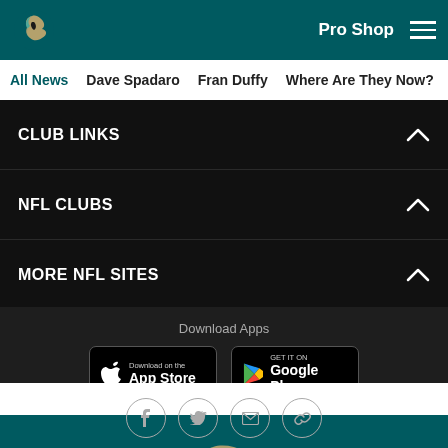Philadelphia Eagles - Pro Shop
All News | Dave Spadaro | Fran Duffy | Where Are They Now? | Pu...
CLUB LINKS
NFL CLUBS
MORE NFL SITES
Download Apps
[Figure (logo): Download on the App Store button]
[Figure (logo): Get it on Google Play button]
[Figure (logo): Philadelphia Eagles logo on teal background]
[Figure (infographic): Social media share icons: Facebook, Twitter, Email, Link]